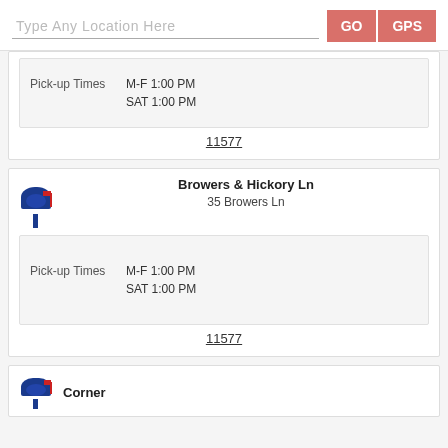Type Any Location Here | GO | GPS
Pick-up Times M-F 1:00 PM SAT 1:00 PM
11577
Browers & Hickory Ln
35 Browers Ln
Pick-up Times M-F 1:00 PM SAT 1:00 PM
11577
Corner